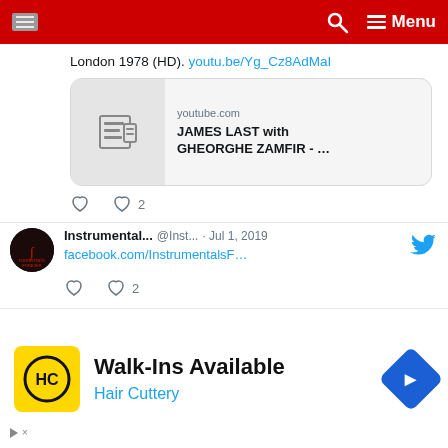Menu
London 1978 (HD). youtu.be/Yg_Cz8AdMaI
[Figure (screenshot): YouTube link card showing youtube.com with title JAMES LAST with GHEORGHE ZAMFIR - ...]
♡ 2 (like count and reply icons)
Instrumental... @Inst... · Jul 1, 2019
facebook.com/InstrumentalsF...
♡ 2
Instrumenta... @In... · Apr 16, 2019
Les Reed (83) has died, his family
Walk-Ins Available
Hair Cuttery